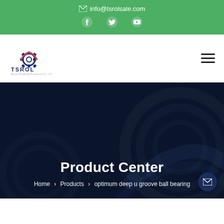✉ info@tsrolsale.com
[Figure (logo): TSROL company logo with gear icon and text 'Henan Fieldtech Equipment Co. Ltd']
Product Center
Home > Products > optimum deep u groove ball bearing